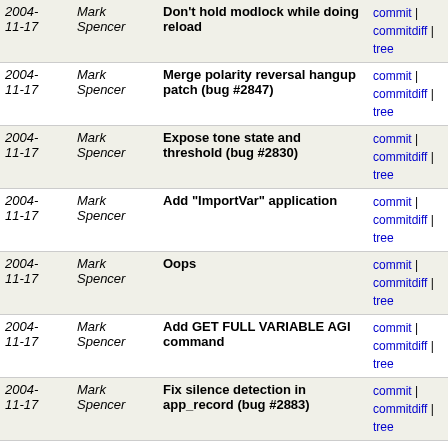| Date | Author | Message | Links |
| --- | --- | --- | --- |
| 2004-11-17 | Mark Spencer | Don't hold modlock while doing reload | commit | commitdiff | tree |
| 2004-11-17 | Mark Spencer | Merge polarity reversal hangup patch (bug #2847) | commit | commitdiff | tree |
| 2004-11-17 | Mark Spencer | Expose tone state and threshold (bug #2830) | commit | commitdiff | tree |
| 2004-11-17 | Mark Spencer | Add "ImportVar" application | commit | commitdiff | tree |
| 2004-11-17 | Mark Spencer | Oops | commit | commitdiff | tree |
| 2004-11-17 | Mark Spencer | Add GET FULL VARIABLE AGI command | commit | commitdiff | tree |
| 2004-11-17 | Mark Spencer | Fix silence detection in app_record (bug #2883) | commit | commitdiff | tree |
| 2004-11-17 | Mark Spencer | Update sample config files for setvar | commit | commitdiff | tree |
| 2004-11-17 | Mark Spencer | Merge Tony's uservars (bug #2882) | commit | commitdiff | tree |
| 2004-11-16 | Mark Spencer | Make sure we use new tags for sip register calls (bug... | commit | commitdiff | tree |
| 2004-11-16 | Mark Spencer | Fix logger | commit | commitdiff | tree |
| 2004-11-16 | Mark Spencer | Fix double ring... | commit | commitdiff | tree |
| 2004-11-16 | Mark Spencer | Add get option command (bug #2868, thanks junky!) | commit | commitdiff | tree |